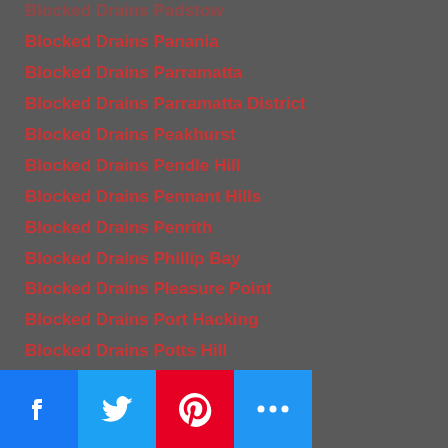Blocked Drains Padstow
Blocked Drains Panania
Blocked Drains Parramatta
Blocked Drains Parramatta District
Blocked Drains Peakhurst
Blocked Drains Pendle Hill
Blocked Drains Pennant Hills
Blocked Drains Penrith
Blocked Drains Phillip Bay
Blocked Drains Pleasure Point
Blocked Drains Port Hacking
Blocked Drains Potts Hill
Blocked Drains Potts Point
Blocked Drains Prestons
Blocked Drains Pulpit Point
Blocked Drains Pyrmont
Blocked Drains Quakers Hill
Blocked Drains Ramsgate (partially visible)
Blocked Drains Raby (partially visible)